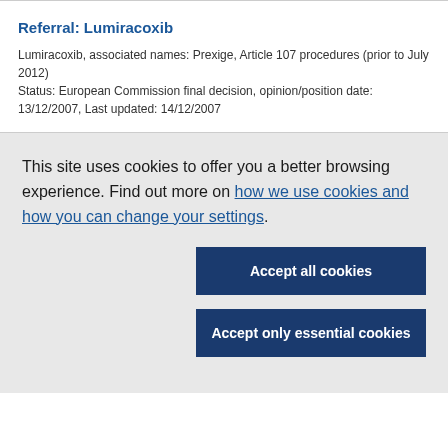Referral: Lumiracoxib
Lumiracoxib, associated names: Prexige, Article 107 procedures (prior to July 2012)
Status: European Commission final decision, opinion/position date: 13/12/2007, Last updated: 14/12/2007
This site uses cookies to offer you a better browsing experience. Find out more on how we use cookies and how you can change your settings.
Accept all cookies
Accept only essential cookies